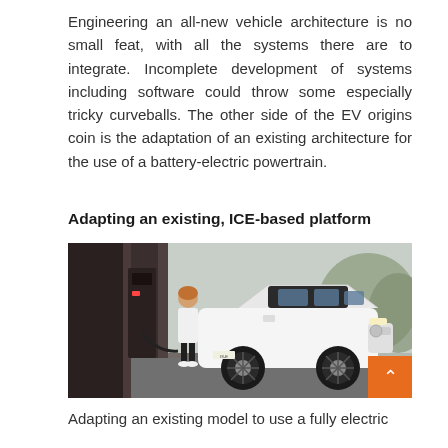Engineering an all-new vehicle architecture is no small feat, with all the systems there are to integrate. Incomplete development of systems including software could throw some especially tricky curveballs. The other side of the EV origins coin is the adaptation of an existing architecture for the use of a battery-electric powertrain.
Adapting an existing, ICE-based platform
[Figure (photo): A white Mercedes-Benz EQA electric SUV being charged at a dark-colored charging station. A person wearing a white coat and face mask is connecting the charging cable to the vehicle. The setting appears to be an outdoor area adjacent to a modern building with blurred foliage in the background.]
Adapting an existing model to use a fully electric